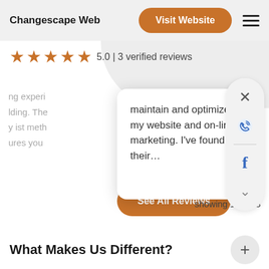Changescape Web
Visit Website
5.0 | 3 verified reviews
maintain and optimize my website and on-line marketing. I've found their…
See All Reviews
showing 1-3 of 3
What Makes Us Different?